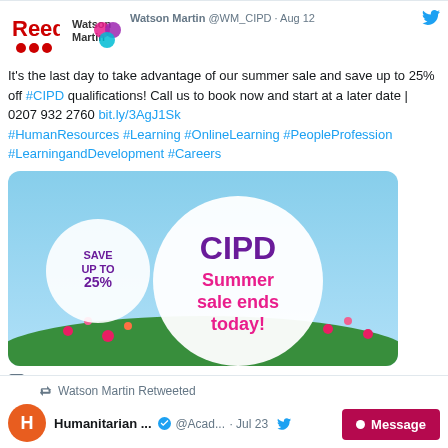[Figure (screenshot): Twitter/social media feed screenshot showing Watson Martin @WM_CIPD tweet from Aug 12 with CIPD Summer Sale advertisement image, and Watson Martin Retweeted section showing Humanitarian account @Acad... Jul 23]
Watson Martin @WM_CIPD · Aug 12
It's the last day to take advantage of our summer sale and save up to 25% off #CIPD qualifications! Call us to book now and start at a later date | 0207 932 2760 bit.ly/3AgJ1Sk #HumanResources #Learning #OnlineLearning #PeopleProfession #LearningandDevelopment #Careers
[Figure (photo): CIPD Summer sale promotional image with flowers in background. Shows 'SAVE UP TO 25%' badge and 'CIPD Summer sale ends today!' text]
Watson Martin Retweeted
Humanitarian ... @Acad... · Jul 23